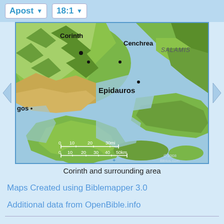Apost  18:1
[Figure (map): Map of Corinth and surrounding area showing Corinth, Cenchrea, Salamis, Epidauros, and other geographic features with scale bars in miles and km. Copyright 2008 Biblos.com]
Corinth and surrounding area
Maps Created using Biblemapper 3.0
Additional data from OpenBible.info
You are free to use up to 50 Biblos coprighted maps (small or large) for your website or presentation. Please credit Biblos.com